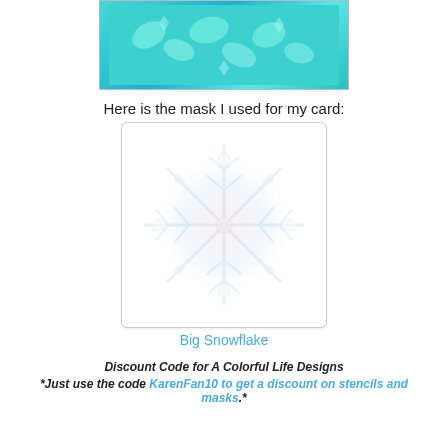[Figure (photo): Photo of teal/turquoise snowflake or butterfly decorative stickers/masks arranged on a teal background in a white-bordered tray]
Here is the mask I used for my card:
[Figure (illustration): Product image of a Big Snowflake stencil/mask — a detailed white snowflake design on white background in a rounded-corner box]
Big Snowflake
Discount Code for A Colorful Life Designs
*Just use the code KarenFan10 to get a discount on stencils and masks.*